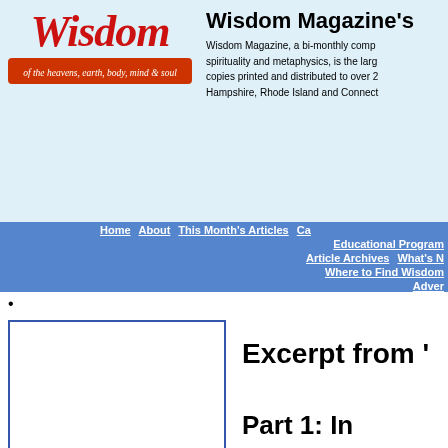[Figure (logo): Wisdom Magazine logo with red italic text 'Wisdom' and subtitle 'of the heavens, earth, body, mind & soul' on orange-red background]
Wisdom Magazine's
Wisdom Magazine, a bi-monthly comp spirituality and metaphysics, is the larg copies printed and distributed to over 2 Hampshire, Rhode Island and Connect
Home  About  This Month's Articles  Ca Educational Programs  Article Archives  What's N Where to Find Wisdom Adver
.
[Figure (other): Left panel with blue border, empty white content area]
Excerpt from '
Part 1: In